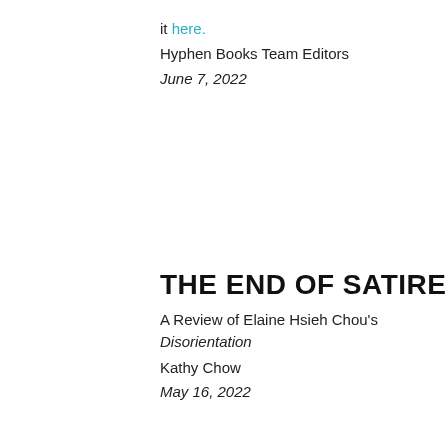it here.
Hyphen Books Team Editors
June 7, 2022
THE END OF SATIRE
A Review of Elaine Hsieh Chou's Disorientation
Kathy Chow
May 16, 2022